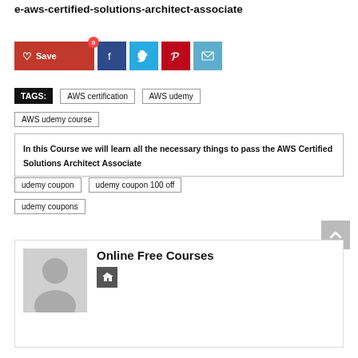e-aws-certified-solutions-architect-associate
[Figure (infographic): Social sharing buttons: Save (heart icon, red), Facebook (blue), Twitter (light blue), Pinterest (red), Email (teal)]
TAGS: AWS certification | AWS udemy
AWS udemy course
In this Course we will learn all the necessary things to pass the AWS Certified Solutions Architect Associate
udemy coupon | udemy coupon 100 off
udemy coupons
Online Free Courses
[Figure (illustration): Generic user avatar silhouette (gray placeholder image)]
[Figure (logo): Home icon (house symbol) in dark gray square]